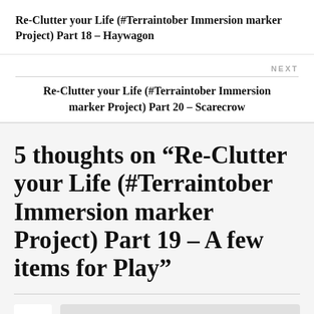Re-Clutter your Life (#Terraintober Immersion marker Project) Part 18 – Haywagon
NEXT
Re-Clutter your Life (#Terraintober Immersion marker Project) Part 20 – Scarecrow
5 thoughts on “Re-Clutter your Life (#Terraintober Immersion marker Project) Part 19 – A few items for Play”